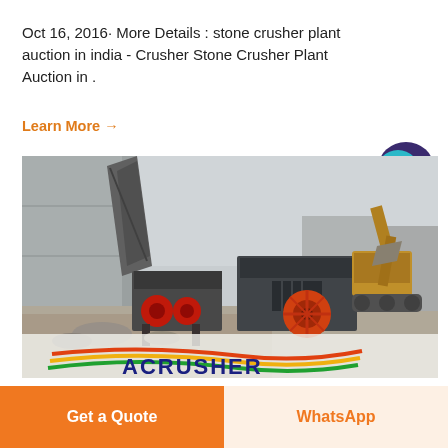Oct 16, 2016· More Details : stone crusher plant auction in india - Crusher Stone Crusher Plant Auction in .
Learn More →
[Figure (photo): Photograph of a stone crusher plant with heavy machinery including crushers, conveyor, and excavator in an industrial outdoor setting. Bottom overlay shows ACRUSHER logo with colorful swoosh lines.]
Get a Quote
WhatsApp